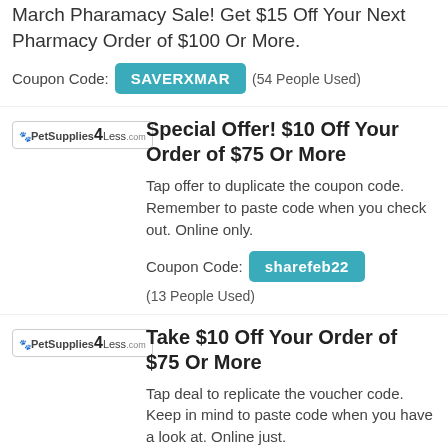March Pharamacy Sale! Get $15 Off Your Next Pharmacy Order of $100 Or More.
Coupon Code: SAVERXMAR (54 People Used)
[Figure (logo): PetSupplies4Less logo in bordered box]
Special Offer! $10 Off Your Order of $75 Or More
Tap offer to duplicate the coupon code. Remember to paste code when you check out. Online only.
Coupon Code: sharefeb22 (13 People Used)
[Figure (logo): PetSupplies4Less logo in bordered box]
Take $10 Off Your Order of $75 Or More
Tap deal to replicate the voucher code. Keep in mind to paste code when you have a look at. Online just.
Coupon Code: aug20share